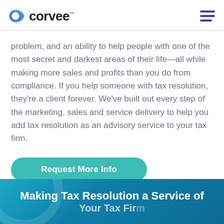corvee™
problem, and an ability to help people with one of the most secret and darkest areas of their life—all while making more sales and profits than you do from compliance. If you help someone with tax resolution, they're a client forever. We've built out every step of the marketing, sales and service delivery to help you add tax resolution as an advisory service to your tax firm.
Request More Info
Making Tax Resolution a Service of Your Tax Firm